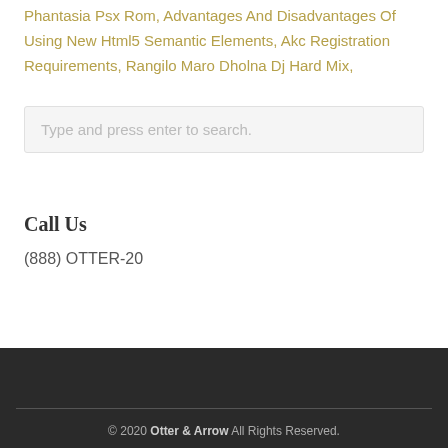Phantasia Psx Rom, Advantages And Disadvantages Of Using New Html5 Semantic Elements, Akc Registration Requirements, Rangilo Maro Dholna Dj Hard Mix,
Type and press enter to search.
Call Us
(888) OTTER-20
© 2020 Otter & Arrow All Rights Reserved.